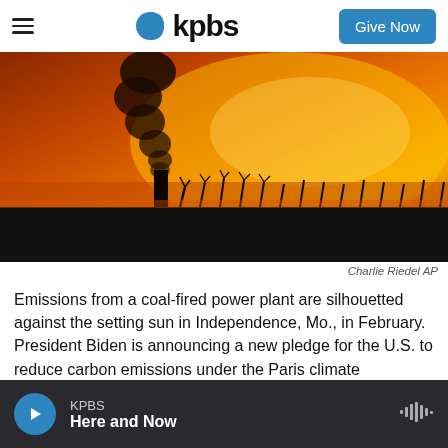kpbs | Give Now
[Figure (photo): Silhouette of a coal-fired power plant chimney emitting smoke against an orange/amber sunset sky with bare trees in the foreground.]
Charlie Riedel AP
Emissions from a coal-fired power plant are silhouetted against the setting sun in Independence, Mo., in February. President Biden is announcing a new pledge for the U.S. to reduce carbon emissions under the Paris climate agreement.
KPBS Here and Now